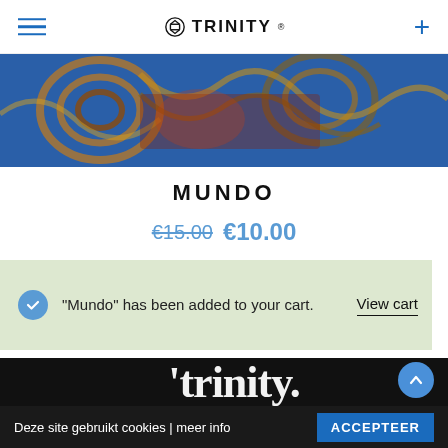TRINITY
[Figure (photo): Abstract colorful painting with spiral and wavy patterns in blue, gold, red, and green tones]
MUNDO
€15.00 €10.00
"Mundo" has been added to your cart.
View cart
[Figure (logo): trinity logo text in white on dark background]
Deze site gebruikt cookies | meer info  ACCEPTEER